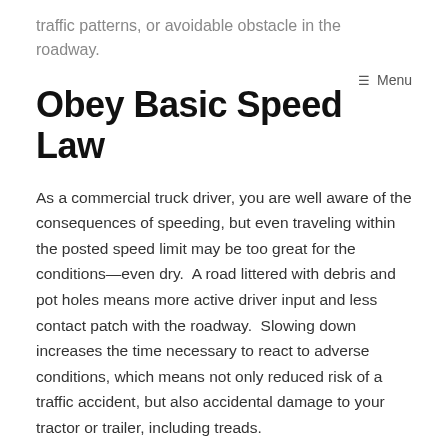traffic patterns, or avoidable obstacle in the roadway.
≡ Menu
Obey Basic Speed Law
As a commercial truck driver, you are well aware of the consequences of speeding, but even traveling within the posted speed limit may be too great for the conditions—even dry.  A road littered with debris and pot holes means more active driver input and less contact patch with the roadway.  Slowing down increases the time necessary to react to adverse conditions, which means not only reduced risk of a traffic accident, but also accidental damage to your tractor or trailer, including treads.